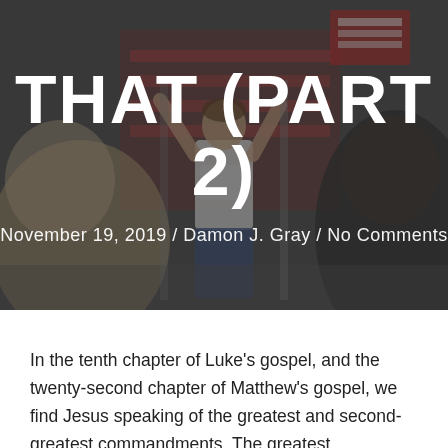[Figure (photo): Dimly lit photo of people in a room; a man in a white t-shirt with arms raised is visible in the center, with blurred figures in the foreground.]
THAT (PART 2)
November 19, 2019 / Damon J. Gray / No Comments
In the tenth chapter of Luke's gospel, and the twenty-second chapter of Matthew's gospel, we find Jesus speaking of the greatest and second-greatest commandments. The greatest commandment, of course, is to love the Lord your God with all